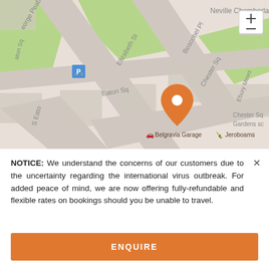[Figure (map): Street map showing Belgravia area in London with orange location pin marking a spot near Belgravia Garage and Jeroboams. Streets visible include Elizabeth St, Eaton Sq, Boscobel Pl, Chester Sq, Ebury Mews, S Eaton. Zoom controls (+/-) visible in top right.]
NOTICE: We understand the concerns of our customers due to the uncertainty regarding the international virus outbreak. For added peace of mind, we are now offering fully-refundable and flexible rates on bookings should you be unable to travel.
ENQUIRE